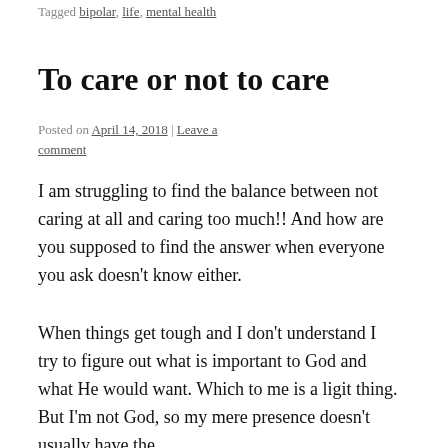Tagged bipolar, life, mental health
To care or not to care
Posted on April 14, 2018 | Leave a comment
I am struggling to find the balance between not caring at all and caring too much!! And how are you supposed to find the answer when everyone you ask doesn't know either.
When things get tough and I don't understand I try to figure out what is important to God and what He would want. Which to me is a ligit thing. But I'm not God, so my mere presence doesn't usually have the